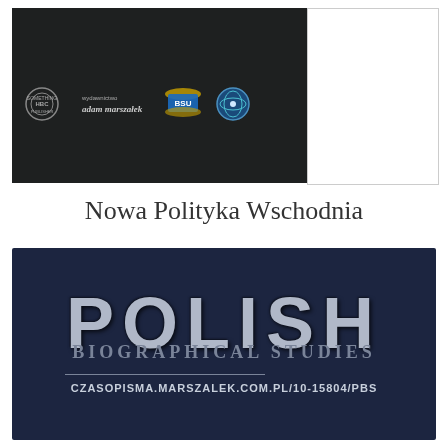[Figure (logo): Dark panel with four publisher logos: a circular emblem, adam marszalek publisher logo, BSU book logo, and a circular science emblem]
Nowa Polityka Wschodnia
[Figure (logo): Dark navy background with 'POLISH' in large bold grey letters and 'Biographical Studies' in smaller caps below, with URL czasopisma.marszalek.com.pl/10-15804/PBS]